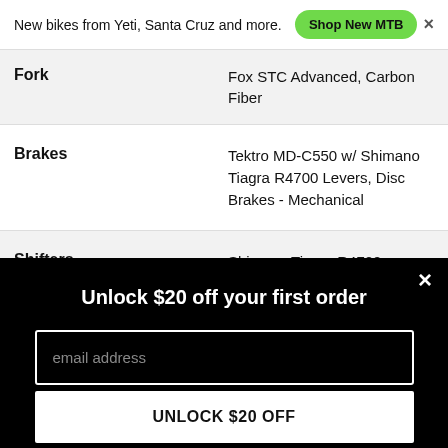New bikes from Yeti, Santa Cruz and more. Shop New MTB ×
| Spec | Value |
| --- | --- |
| Fork | Fox STC Advanced, Carbon Fiber |
| Brakes | Tektro MD-C550 w/ Shimano Tiagra R4700 Levers, Disc Brakes - Mechanical |
| Shifters | Shimano Tiagra R4700, Mechanical |
Unlock $20 off your first order
email address
UNLOCK $20 OFF
*Valid for one-time use on new accounts